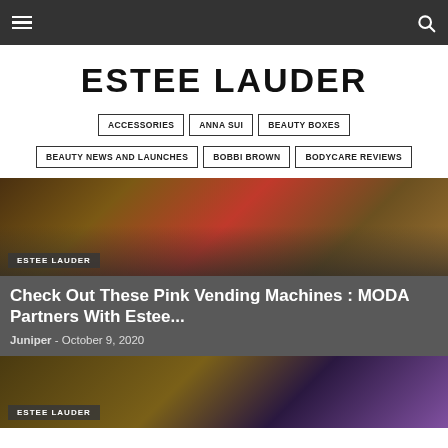Navigation bar with hamburger menu and search icon
ESTEE LAUDER
ACCESSORIES
ANNA SUI
BEAUTY BOXES
BEAUTY NEWS AND LAUNCHES
BOBBI BROWN
BODYCARE REVIEWS
[Figure (photo): Product photo showing cosmetics items with warm brown tones]
ESTEE LAUDER
Check Out These Pink Vending Machines : MODA Partners With Estee...
Juniper  -  October 9, 2020
[Figure (photo): Cosmetics product photo with purple/violet tones]
ESTEE LAUDER